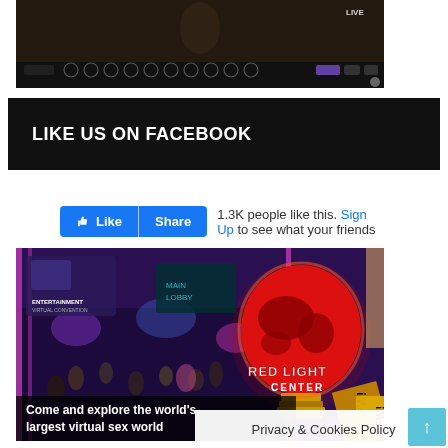[Figure (screenshot): Video player with dark background showing a person, with playback controls visible at bottom]
LIKE US ON FACEBOOK
[Figure (screenshot): Facebook Like and Share buttons. 1.3K people like this. Sign Up to see what your friends...]
[Figure (photo): Advertisement for Red Light Center virtual sex world - shows a party scene with people dancing and a large red light bulb graphic with world map. Text: Come and explore the world's largest virtual sex world. NSFW!]
Privacy & Cookies Policy